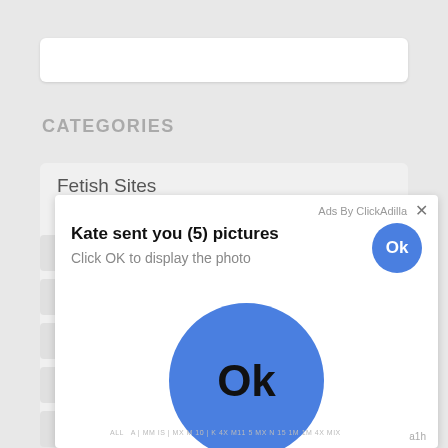[Figure (screenshot): White search bar / input field at top of page]
CATEGORIES
Fetish Sites
[Figure (screenshot): Ad popup overlay from ClickAdilla with title 'Kate sent you (5) pictures', subtitle 'Click OK to display the photo', a small blue Ok circle button in top-right, and a large blue Ok circle button in the center of the popup]
a1h